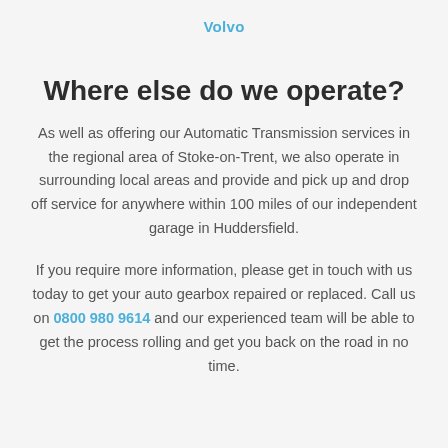Volvo
Where else do we operate?
As well as offering our Automatic Transmission services in the regional area of Stoke-on-Trent, we also operate in surrounding local areas and provide and pick up and drop off service for anywhere within 100 miles of our independent garage in Huddersfield.
If you require more information, please get in touch with us today to get your auto gearbox repaired or replaced. Call us on 0800 980 9614 and our experienced team will be able to get the process rolling and get you back on the road in no time.